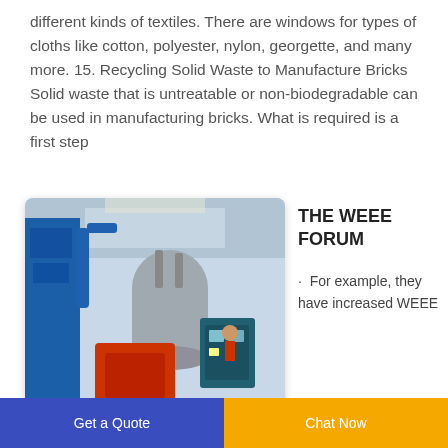different kinds of textiles. There are windows for types of cloths like cotton, polyester, nylon, georgette, and many more. 15. Recycling Solid Waste to Manufacture Bricks Solid waste that is untreatable or non-biodegradable can be used in manufacturing bricks. What is required is a first step
[Figure (photo): Industrial recycling machinery in a factory setting, showing large blue and metal equipment, conveyor systems, and workers in the background.]
THE WEEE FORUM
· For example, they have increased WEEE
Get a Quote   Chat Now